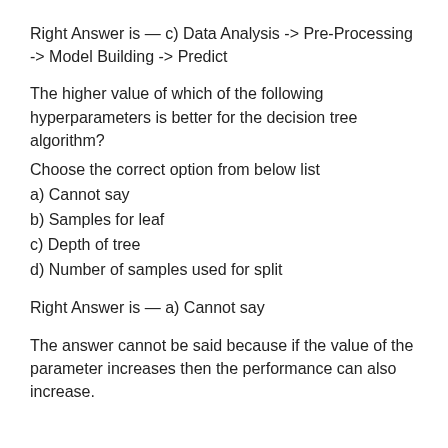Right Answer is — c) Data Analysis -> Pre-Processing -> Model Building -> Predict
The higher value of which of the following hyperparameters is better for the decision tree algorithm?
Choose the correct option from below list
a) Cannot say
b) Samples for leaf
c) Depth of tree
d) Number of samples used for split
Right Answer is — a) Cannot say
The answer cannot be said because if the value of the parameter increases then the performance can also increase.